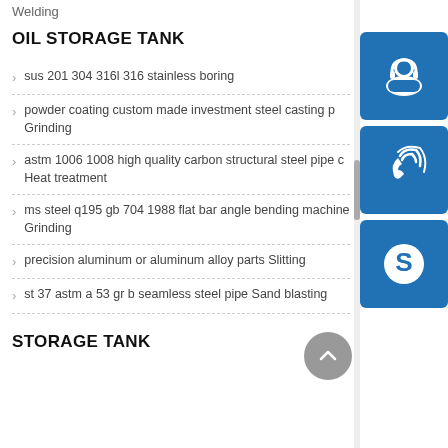Welding
OIL STORAGE TANK
sus 201 304 316l 316 stainless boring
powder coating custom made investment steel casting pa Grinding
astm 1006 1008 high quality carbon structural steel pipe c Heat treatment
ms steel q195 gb 704 1988 flat bar angle bending machine Grinding
precision aluminum or aluminum alloy parts Slitting
st 37 astm a 53 gr b seamless steel pipe Sand blasting
STORAGE TANK
[Figure (illustration): Blue square icon with white headset/customer support symbol]
[Figure (illustration): Blue square icon with white phone/call symbol]
[Figure (illustration): Blue square icon with white Skype logo symbol]